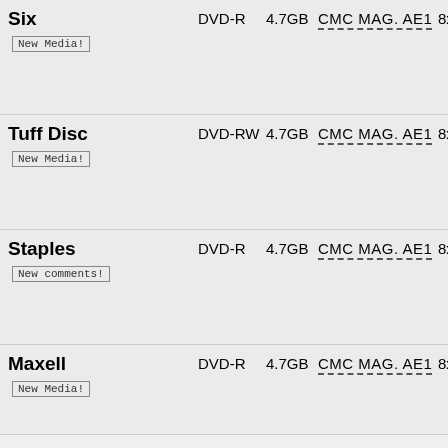| Brand | Type | Size | MFR Code | Speed | Description |
| --- | --- | --- | --- | --- | --- |
| Six
New Media! | DVD-R | 4.7GB | CMC MAG. AE1 | 8x | Plays o...
Plays r...
Burn R...
DVD R...
PC Rel...
Conso... |
| Tuff Disc
New Media! | DVD-RW | 4.7GB | CMC MAG. AE1 | 8x | Plays o...
Plays r...
Burn R...
DVD R...
PC Rel...
Conso... |
| Staples
New comments! | DVD-R | 4.7GB | CMC MAG. AE1 | 8x | Plays o...
Plays r...
Burn R...
DVD R...
PC Rel...
Conso... |
| Maxell
New Media! | DVD-R | 4.7GB | CMC MAG. AE1 | 8x | Plays o...
Plays r...
Burn R...
DVD R... |